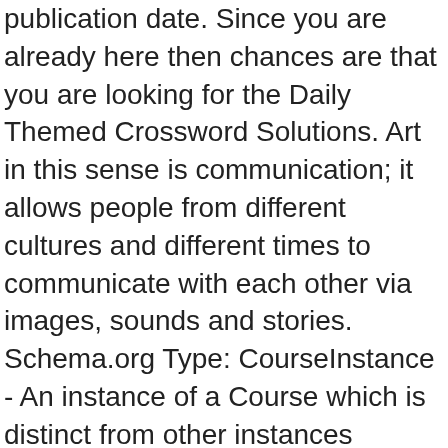publication date. Since you are already here then chances are that you are looking for the Daily Themed Crossword Solutions. Art in this sense is communication; it allows people from different cultures and different times to communicate with each other via images, sounds and stories. Schema.org Type: CourseInstance - An instance of a Course which is distinct from other instances because it is offered at a different time or location or through different media or modes of study or to a specific section of students. You can tell the story of the film … We're working closely with our server provider and will try to get things back to normal as soon as possible. Book: Mayo Clinic Healthy Heart for Life! Look no further because you will find whatever you are looking for in here. A Report on Man's Search for Meaning. In film criticism, the ___ theory holds that a director's film reflects the director's personal creative vision. ... and plots together, for instance. content, or of an event. ". Dr. Viktor Frankl's book Man's Search for Meaning (New York: